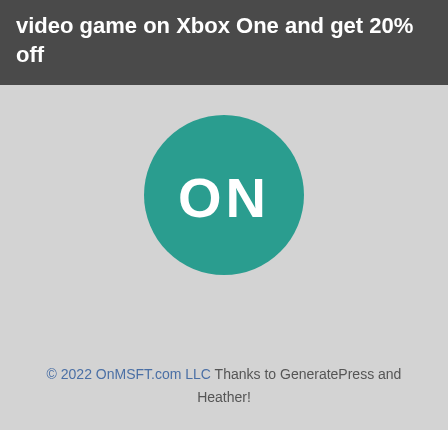video game on Xbox One and get 20% off
[Figure (logo): OnMSFT logo: teal circle with white bold text 'ON']
© 2022 OnMSFT.com LLC Thanks to GeneratePress and Heather!